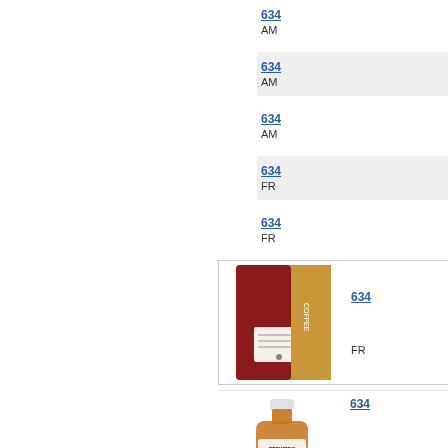634...
AM...
634...
AM...
634...
AM...
634...
FR...
634...
FR...
[Figure (photo): Red and gold coffee/tea bag product packaging]
634...
FR...
[Figure (photo): Brown glass bottle with Brewer's Best Oak Essence label]
634...
OA...